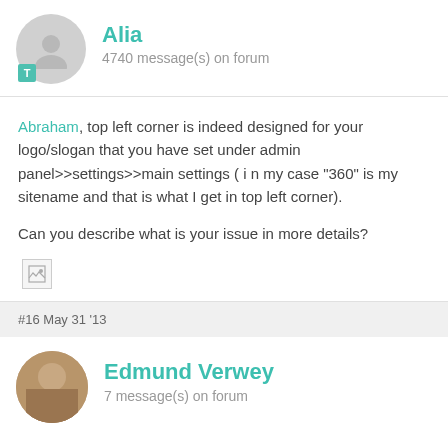Alia
4740 message(s) on forum
Abraham, top left corner is indeed designed for your logo/slogan that you have set under admin panel>>settings>>main settings ( i n my case "360" is my sitename and that is what I get in top left corner).

Can you describe what is your issue in more details?
[Figure (photo): Broken image placeholder (small icon, top-left area of post body)]
#16 May 31 '13
Edmund Verwey
7 message(s) on forum